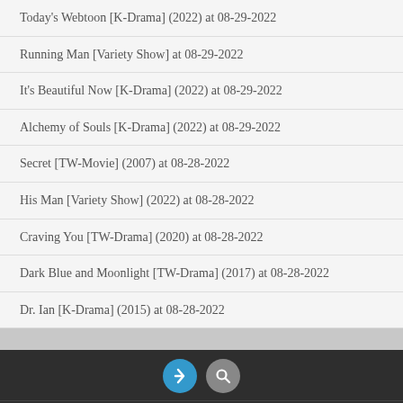Today's Webtoon [K-Drama] (2022) at 08-29-2022
Running Man [Variety Show] at 08-29-2022
It's Beautiful Now [K-Drama] (2022) at 08-29-2022
Alchemy of Souls [K-Drama] (2022) at 08-29-2022
Secret [TW-Movie] (2007) at 08-28-2022
His Man [Variety Show] (2022) at 08-28-2022
Craving You [TW-Drama] (2020) at 08-28-2022
Dark Blue and Moonlight [TW-Drama] (2017) at 08-28-2022
Dr. Ian [K-Drama] (2015) at 08-28-2022
Copyright © 2022 Mini Drama
13